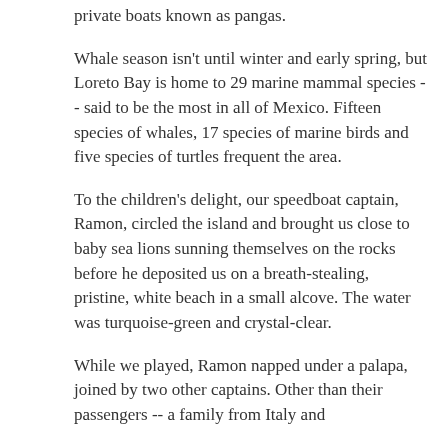private boats known as pangas.
Whale season isn't until winter and early spring, but Loreto Bay is home to 29 marine mammal species -- said to be the most in all of Mexico. Fifteen species of whales, 17 species of marine birds and five species of turtles frequent the area.
To the children's delight, our speedboat captain, Ramon, circled the island and brought us close to baby sea lions sunning themselves on the rocks before he deposited us on a breath-stealing, pristine, white beach in a small alcove. The water was turquoise-green and crystal-clear.
While we played, Ramon napped under a palapa, joined by two other captains. Other than their passengers -- a family from Italy and